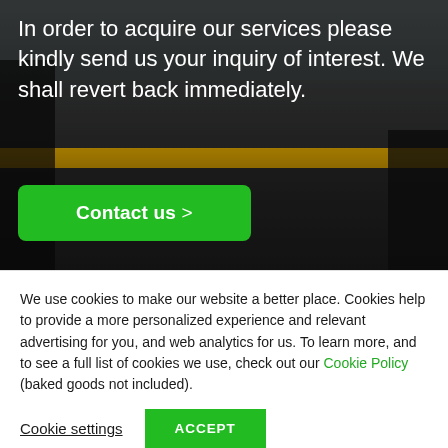[Figure (photo): Dark background photo of business people walking on a terrace or platform, with a yellow/gold railing bar visible in the middle ground and city/glass building backdrop.]
In order to acquire our services please kindly send us your inquiry of interest. We shall revert back immediately.
Contact us >
We use cookies to make our website a better place. Cookies help to provide a more personalized experience and relevant advertising for you, and web analytics for us. To learn more, and to see a full list of cookies we use, check out our Cookie Policy (baked goods not included).
Cookie settings
ACCEPT